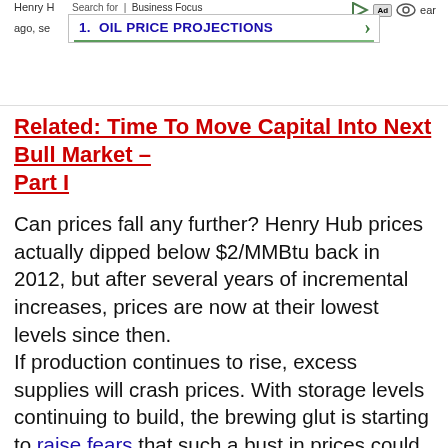Henry H... ago, se | Search for | Business Focus | OIL PRICE PROJECTIONS [ad banner]
Related: Time To Move Capital Into Next Bull Market – Part I
Can prices fall any further? Henry Hub prices actually dipped below $2/MMBtu back in 2012, but after several years of incremental increases, prices are now at their lowest levels since then.
If production continues to rise, excess supplies will crash prices. With storage levels continuing to build, the brewing glut is starting to raise fears that such a bust in prices could be coming soon.